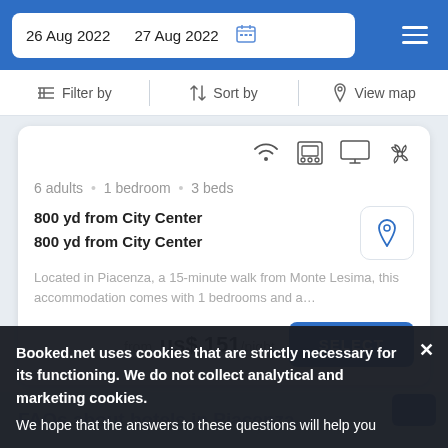26 Aug 2022  27 Aug 2022
Filter by   Sort by   View map
6 adults · 1 bedroom · 3 beds
800 yd from City Center
800 yd from City Center
Located in Piacenza, a 15-minute walk from Monte Lesima, this accommodation comes with 1 bedrooms and a…
from  us$ 151/night
SELECT
Booked.net uses cookies that are strictly necessary for its functioning. We do not collect analytical and marketing cookies.
We hope that the answers to these questions will help you